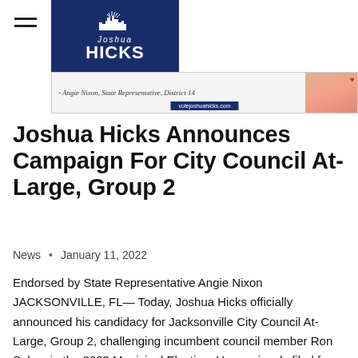[Figure (logo): Joshua Hicks campaign logo — dark blue rectangle with city skyline silhouette and text 'Joshua HICKS' in white]
[Figure (photo): Advertisement banner for votejoshuahicks.com with quote from Angie Nixon, State Representative, District 14, and photo of a woman in colorful attire]
Joshua Hicks Announces Campaign For City Council At-Large, Group 2
News • January 11, 2022
Endorsed by State Representative Angie Nixon JACKSONVILLE, FL— Today, Joshua Hicks officially announced his candidacy for Jacksonville City Council At-Large, Group 2, challenging incumbent council member Ron Salem in the 2023 Municipal Election. He previously filed for Council District 3 before the local redistricting process was underway. In